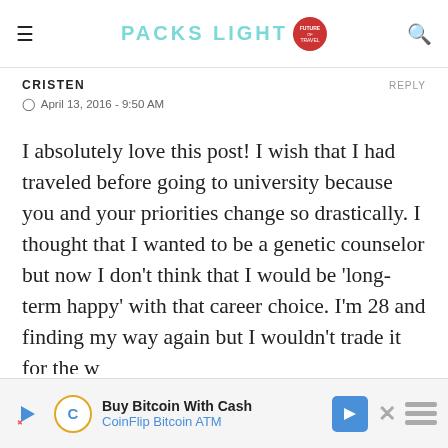PACKS LIGHT
CRISTEN
REPLY
⊙ April 13, 2016 - 9:50 AM
I absolutely love this post! I wish that I had traveled before going to university because you and your priorities change so drastically. I thought that I wanted to be a genetic counselor but now I don't think that I would be 'long-term happy' with that career choice. I'm 28 and finding my way again but I wouldn't trade it for the w
[Figure (infographic): Advertisement banner: Buy Bitcoin With Cash - CoinFlip Bitcoin ATM with navigation arrow icon and close button]